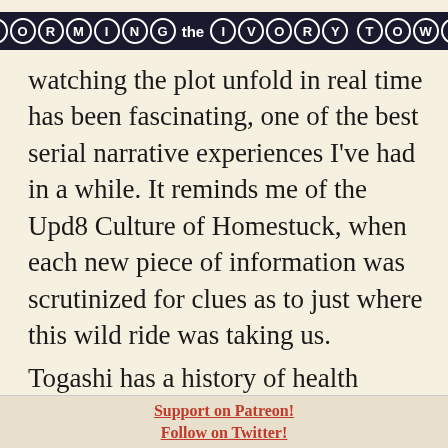STORMING the IVORY TOWER
of their soul to kill each other watching the plot unfold in real time has been fascinating, one of the best serial narrative experiences I've had in a while. It reminds me of the Upd8 Culture of Homestuck, when each new piece of information was scrutinized for clues as to just where this wild ride was taking us.
Togashi has a history of health problems and stress related issues.
Support on Patreon!
Follow on Twitter!